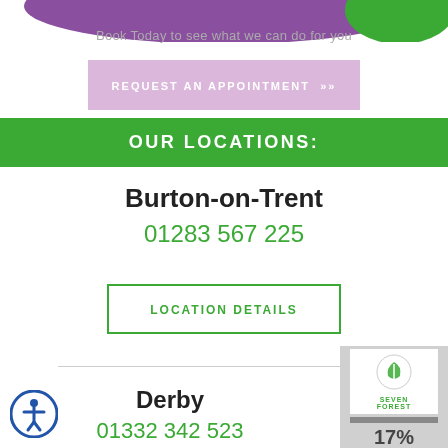[Figure (illustration): Purple/green blob shape at top of page]
Book Today to see what we can do for you
[Figure (screenshot): Pink/lavender REQUEST AN APPOINTMENT button with >> arrows]
OUR LOCATIONS:
Burton-on-Trent
01283 567 225
LOCATION DETAILS
Derby
01332 342 523
[Figure (logo): Seven Forest logo with leaf icon]
[Figure (infographic): 17% accessibility/stats widget]
[Figure (illustration): Accessibility icon (person in circle) bottom left]